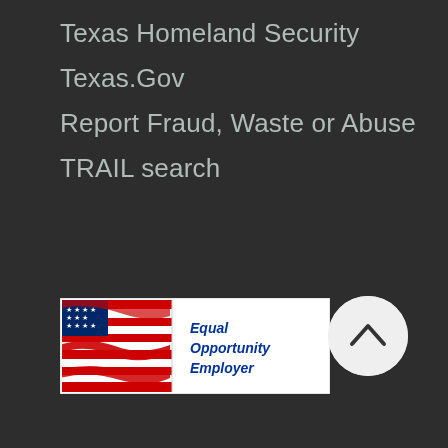Texas Homeland Security
Texas.Gov
Report Fraud, Waste or Abuse
TRAIL search
[Figure (logo): Equal Opportunity Employer badge with American flag graphic and blue text]
[Figure (other): Back to top button - circular light grey button with upward chevron arrow]